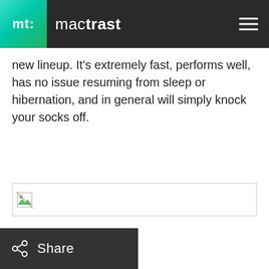mt: mactrast
new lineup. It's extremely fast, performs well, has no issue resuming from sleep or hibernation, and in general will simply knock your socks off.
[Figure (photo): Broken/unloaded image placeholder with border]
Share